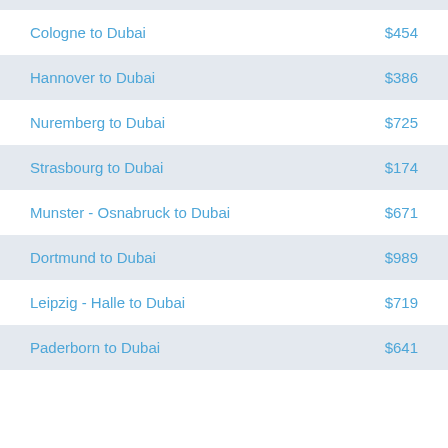| Route | Price |
| --- | --- |
| Cologne to Dubai | $454 |
| Hannover to Dubai | $386 |
| Nuremberg to Dubai | $725 |
| Strasbourg to Dubai | $174 |
| Munster - Osnabruck to Dubai | $671 |
| Dortmund to Dubai | $989 |
| Leipzig - Halle to Dubai | $719 |
| Paderborn to Dubai | $641 |